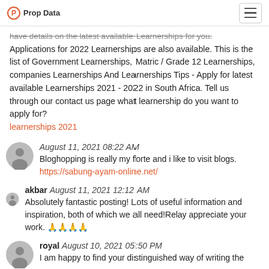Prop Data
have details on the latest available Learnerships for you. Applications for 2022 Learnerships are also available. This is the list of Government Learnerships, Matric / Grade 12 Learnerships, companies Learnerships And Learnerships Tips - Apply for latest available Learnerships 2021 - 2022 in South Africa. Tell us through our contact us page what learnership do you want to apply for?
learnerships 2021
August 11, 2021 08:22 AM
Bloghopping is really my forte and i like to visit blogs.
https://sabung-ayam-online.net/
akbar August 11, 2021 12:12 AM
Absolutely fantastic posting! Lots of useful information and inspiration, both of which we all need!Relay appreciate your work. 🙏🙏🙏🙏
royal August 10, 2021 05:50 PM
I am happy to find your distinguished way of writing the